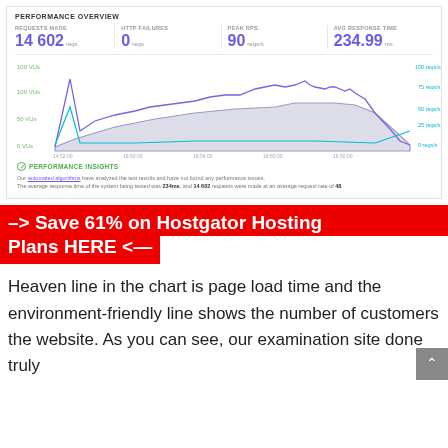[Figure (screenshot): Performance overview dashboard screenshot showing metrics: REQUESTS MADE 14 602 reqs, HTTP FAILURES 0 reqs, PEAK RPS 90 reqs/s, AVG RESPONSE TIME 234.99 ms, with a line/area chart showing VUs and requests per second over time from 14:52:00 to 14:56:00, and a PERFORMANCE INSIGHTS section below the chart.]
–> Save 61% on Hostgator Hosting Plans HERE <—
Heaven line in the chart is page load time and the environment-friendly line shows the number of customers the website. As you can see, our examination site done truly